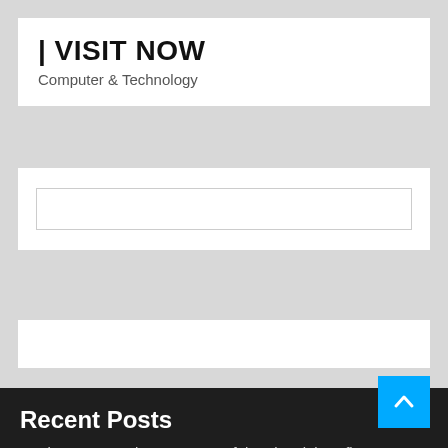| VISIT NOW
Computer & Technology
[Figure (other): Search input box (empty text field)]
[Figure (other): Empty white banner/advertisement area]
Recent Posts
Real Estate Meeting Unsuccessful, Industrial Profits Rebound